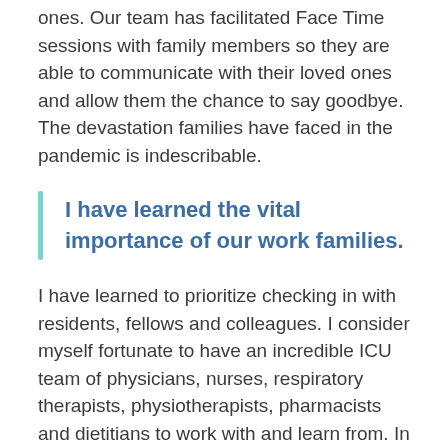ones. Our team has facilitated Face Time sessions with family members so they are able to communicate with their loved ones and allow them the chance to say goodbye. The devastation families have faced in the pandemic is indescribable.
I have learned the vital importance of our work families.
I have learned to prioritize checking in with residents, fellows and colleagues. I consider myself fortunate to have an incredible ICU team of physicians, nurses, respiratory therapists, physiotherapists, pharmacists and dietitians to work with and learn from. In the pandemic we spend most of our time at